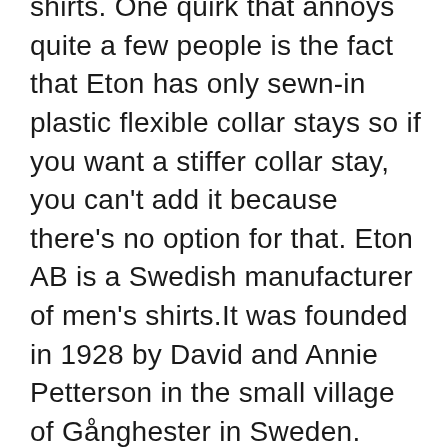shirts. One quirk that annoys quite a few people is the fact that Eton has only sewn-in plastic flexible collar stays so if you want a stiffer collar stay, you can't add it because there's no option for that. Eton AB is a Swedish manufacturer of men's shirts.It was founded in 1928 by David and Annie Petterson in the small village of Gånghester in Sweden. Eton is now a global brand, being sold in more than 1,500 stores in over 50 countries, with flagship stores in Frankfurt, London, New York and Stockholm. Eton AB,556255-2439 - På allabolag.se hittar du , bokslut, nyckeltal, koncern, koncernträd, styrelse, Status, adress mm för Eton AB Explore a sartorial classic as old as menswear itself. Reinvented in new, modern designs and colors — and timeless elegance.